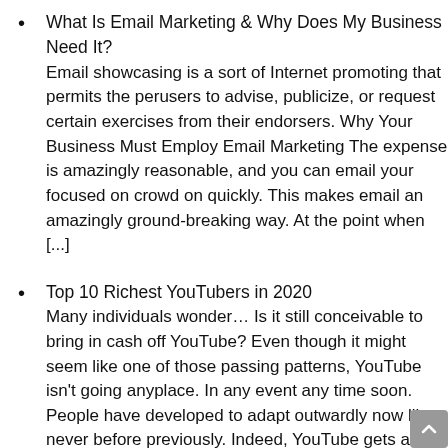What Is Email Marketing & Why Does My Business Need It? Email showcasing is a sort of Internet promoting that permits the perusers to advise, publicize, or request certain exercises from their endorsers. Why Your Business Must Employ Email Marketing The expense is amazingly reasonable, and you can email your focused on crowd on quickly. This makes email an amazingly ground-breaking way. At the point when [...]
Top 10 Richest YouTubers in 2020 Many individuals wonder… Is it still conceivable to bring in cash off YouTube? Even though it might seem like one of those passing patterns, YouTube isn't going anyplace. In any event any time soon. People have developed to adapt outwardly now like never before previously. Indeed, YouTube gets an extraordinary 5 billion video watches each [...]
The 10 Vital Stages of Online Business By using shopping bins and electronic business stages, retailers build online stores where they show off their things